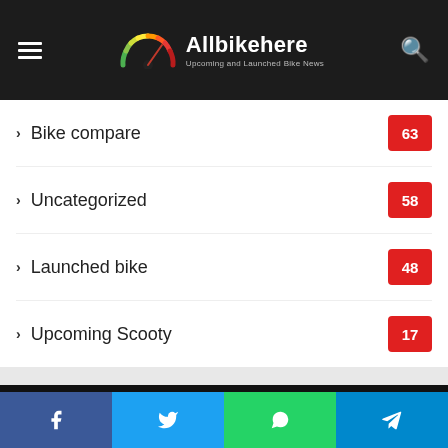Allbikehere — Upcoming and Launched Bike News
Bike compare 63
Uncategorized 58
Launched bike 48
Upcoming Scooty 17
[Figure (logo): Allbikehere speedometer logo with colored arc segments from green to red]
Allbikehere is a blog giving you news of upcoming and launched bike news, review, compare bikes in the Indian Market. This blog site will be an information…
Facebook | Twitter | WhatsApp | Telegram | Read In Hindi | H